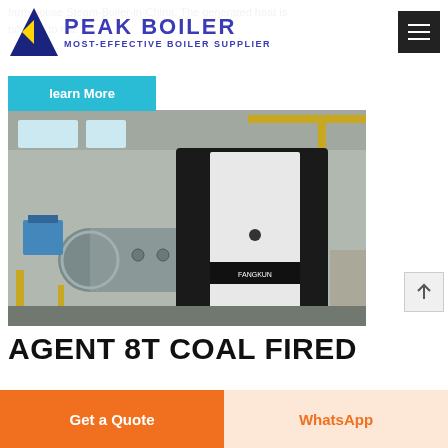PEAK BOILER — MOST-EFFECTIVE BOILER SUPPLIER
farm house Steam-Boiler-in-China. The generated heat is transferred to make...
learn More
[Figure (photo): Industrial coal-fired steam boiler in a factory/warehouse setting. A large black and white rectangular boiler unit is prominently shown with hoses connected, alongside a large cylindrical horizontal pressure vessel in the background.]
AGENT 8T COAL FIRED
Get a Quote
WhatsApp